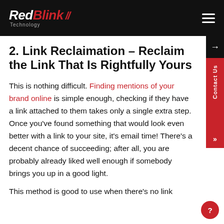RedBlink // Technology
2. Link Reclaimation – Reclaim the Link That Is Rightfully Yours
This is nothing difficult. Finding mentions of your brand online is simple enough, checking if they have a link attached to them takes only a single extra step. Once you've found something that would look even better with a link to your site, it's email time! There's a decent chance of succeeding; after all, you are probably already liked well enough if somebody brings you up in a good light.
This method is good to use when there's no link